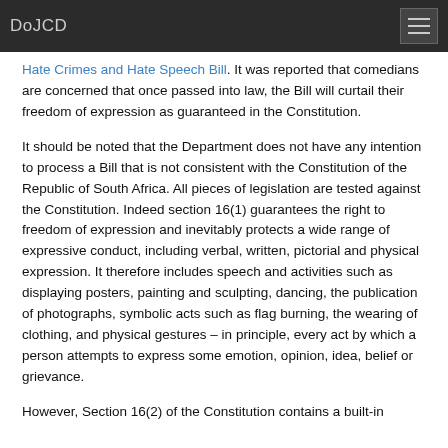DoJCD
Hate Crimes and Hate Speech Bill. It was reported that comedians are concerned that once passed into law, the Bill will curtail their freedom of expression as guaranteed in the Constitution.
It should be noted that the Department does not have any intention to process a Bill that is not consistent with the Constitution of the Republic of South Africa. All pieces of legislation are tested against the Constitution. Indeed section 16(1) guarantees the right to freedom of expression and inevitably protects a wide range of expressive conduct, including verbal, written, pictorial and physical expression. It therefore includes speech and activities such as displaying posters, painting and sculpting, dancing, the publication of photographs, symbolic acts such as flag burning, the wearing of clothing, and physical gestures – in principle, every act by which a person attempts to express some emotion, opinion, idea, belief or grievance.
However, Section 16(2) of the Constitution contains a built-in